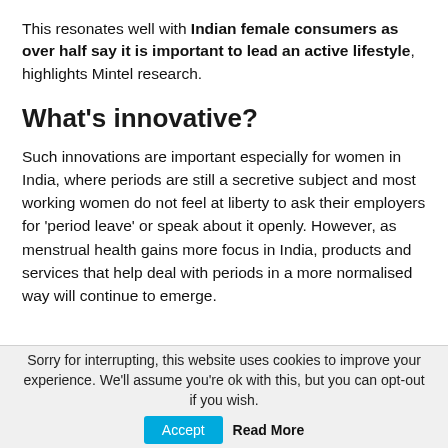This resonates well with Indian female consumers as over half say it is important to lead an active lifestyle, highlights Mintel research.
What's innovative?
Such innovations are important especially for women in India, where periods are still a secretive subject and most working women do not feel at liberty to ask their employers for 'period leave' or speak about it openly. However, as menstrual health gains more focus in India, products and services that help deal with periods in a more normalised way will continue to emerge.
Sorry for interrupting, this website uses cookies to improve your experience. We'll assume you're ok with this, but you can opt-out if you wish. Accept Read More